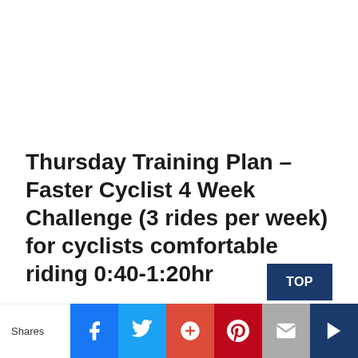Thursday Training Plan – Faster Cyclist 4 Week Challenge (3 rides per week) for cyclists comfortable riding 0:40-1:20hr
4 weeks of training is all you need to do to destroy your current FTP significantly. On the average following, this programme cyclists improve by 8% in the first month. Some people have improved by more than 40 Watts t…ng